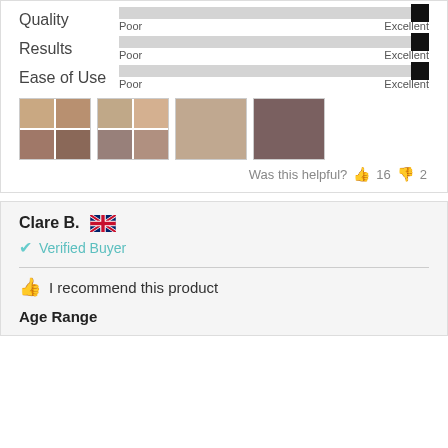Quality — slider bar (Poor to Excellent, at maximum)
Results — slider bar (Poor to Excellent, at maximum)
Ease of Use — slider bar (Poor to Excellent, at maximum)
[Figure (photo): Four review photos in a 2x2 grid collage showing skin/wound images]
[Figure (photo): Four review photos in a 2x2 grid collage showing skin/wound images]
[Figure (photo): Single review photo showing skin/wound]
[Figure (photo): Single review photo showing skin/wound]
Was this helpful? 👍 16 👎 2
Clare B. 🇬🇧
Verified Buyer
I recommend this product
Age Range